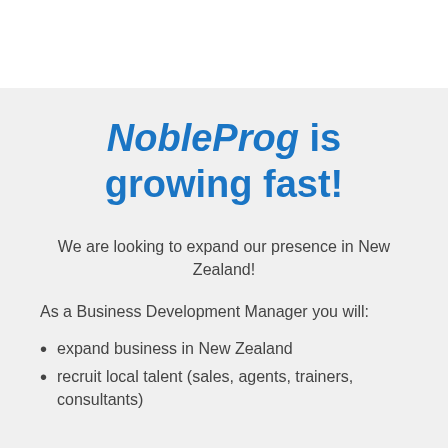NobleProg is growing fast!
We are looking to expand our presence in New Zealand!
As a Business Development Manager you will:
expand business in New Zealand
recruit local talent (sales, agents, trainers, consultants)